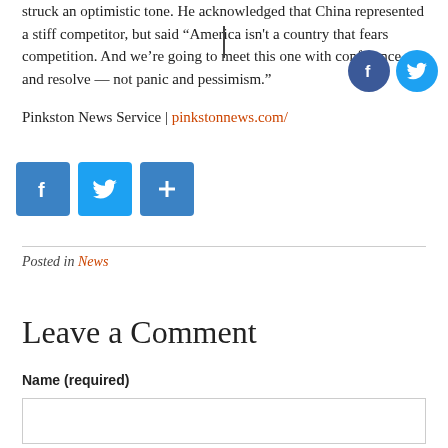struck an optimistic tone. He acknowledged that China represented a stiff competitor, but said “America isn't a country that fears competition. And we’re going to meet this one with confidence and resolve — not panic and pessimism.”
Pinkston News Service | pinkstonnews.com/
[Figure (infographic): Social media share buttons: Facebook (f), Twitter (bird), and a plus (+) share button in blue squares]
Posted in News
Leave a Comment
Name (required)